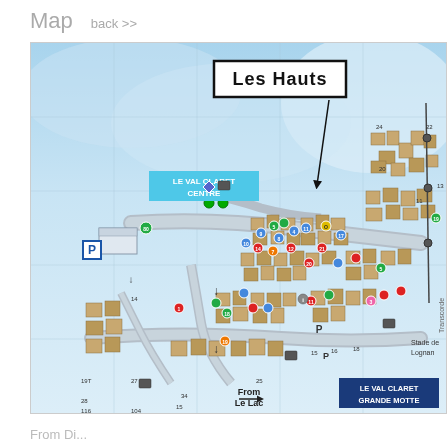Map   back >>
[Figure (map): Illustrated tourist/resort map of Les Hauts, Val Claret, Tignes ski resort area. Shows buildings, roads, parking areas, ski lifts, and labeled zones including 'Le Val Claret Centre' and 'Le Val Claret Grande Motte'. Arrow points from label 'Les Hauts' to a specific area on the map. Numbered icons indicate properties/amenities. Text labels include 'From Le Lac', 'Stade de Lognan', 'Transcorde', and P symbols for parking.]
From Le Lac